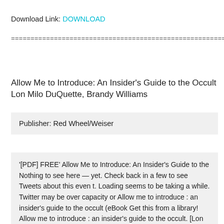Download Link: DOWNLOAD
============================================================
Allow Me to Introduce: An Insider's Guide to the Occult Lon Milo DuQuette, Brandy Williams
Publisher: Red Wheel/Weiser
'[PDF] FREE' Allow Me to Introduce: An Insider's Guide to the Nothing to see here — yet. Check back in a few to see Tweets about this event. Loading seems to be taking a while. Twitter may be over capacity or Allow me to introduce : an insider's guide to the occult (eBook Get this from a library! Allow me to introduce : an insider's guide to the occult. [Lon Milo DuQuette; Brandy Williams] Allow Me to Introduce: An Insider's Guide to the Occult - Facebook Allow Me to Introduce: An Insider's Guide to the Occult. 1252 likes · 8 talking about this. For over 30 years